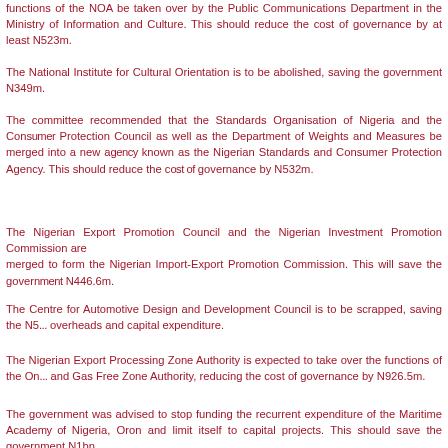functions of the NOA be taken over by the Public Communications Department in the Ministry of Information and Culture. This should reduce the cost of governance by at least N523m.
The National Institute for Cultural Orientation is to be abolished, saving the government N349m.
The committee recommended that the Standards Organisation of Nigeria and the Consumer Protection Council as well as the Department of Weights and Measures be merged into a new agency known as the Nigerian Standards and Consumer Protection Agency. This should reduce the cost of governance by N532m.
The Nigerian Export Promotion Council and the Nigerian Investment Promotion Commission are to be merged to form the Nigerian Import-Export Promotion Commission. This will save the government N446.6m.
The Centre for Automotive Design and Development Council is to be scrapped, saving the N5... overheads and capital expenditure.
The Nigerian Export Processing Zone Authority is expected to take over the functions of the Oil and Gas Free Zone Authority, reducing the cost of governance by N926.5m.
The government was advised to stop funding the recurrent expenditure of the Maritime Academy of Nigeria, Oron and limit itself to capital projects. This should save the government N1bn.
The committee also looked at...